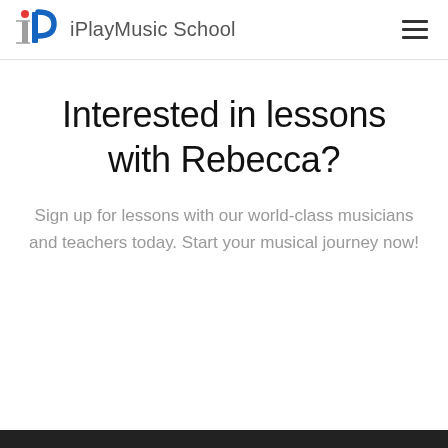iPlayMusic School
Interested in lessons with Rebecca?
Sign up for lessons with our world-class musicians and teachers today. Start your musical journey now!